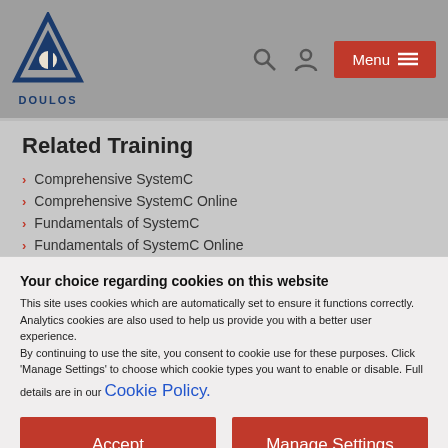DOULOS — Menu
Related Training
Comprehensive SystemC
Comprehensive SystemC Online
Fundamentals of SystemC
Fundamentals of SystemC Online
SystemC Modeling using TLM-2.0
SystemC Modeling using TLM-2.0 Online
Your choice regarding cookies on this website
This site uses cookies which are automatically set to ensure it functions correctly. Analytics cookies are also used to help us provide you with a better user experience.
By continuing to use the site, you consent to cookie use for these purposes. Click 'Manage Settings' to choose which cookie types you want to enable or disable. Full details are in our Cookie Policy.